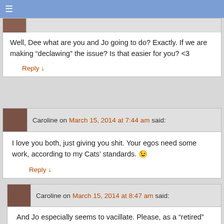Well, Dee what are you and Jo going to do? Exactly. If we are making “declawing” the issue? Is that easier for you? <3
Reply ↓
Caroline on March 15, 2014 at 7:44 am said:
I love you both, just giving you shit. Your egos need some work, according to my Cats’ standards. 😉
Reply ↓
Caroline on March 15, 2014 at 8:47 am said:
And Jo especially seems to vacillate. Please, as a “retired” [how can you deem yourself [fully] retired psychotherapist, when you feel the need in stating so? Is your ego, as an psychoanalyst and therapist